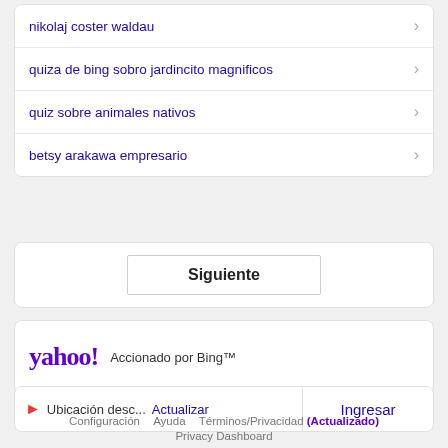nikolaj coster waldau
quiza de bing sobro jardincito magnificos
quiz sobre animales nativos
betsy arakawa empresario
Siguiente
[Figure (logo): Yahoo! logo in purple with exclamation mark]
Accionado por Bing™
Ubicación desc... Actualizar
Ingresar
Configuración   Ayuda   Términos/Privacidad (Actualizado)
Privacy Dashboard